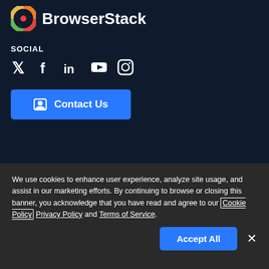[Figure (logo): BrowserStack logo with multicolored circular icon and white bold text 'BrowserStack']
SOCIAL
[Figure (infographic): Social media icons: Twitter, Facebook, LinkedIn, YouTube, Instagram]
[Figure (other): Contact Us button with person/card icon]
We use cookies to enhance user experience, analyze site usage, and assist in our marketing efforts. By continuing to browse or closing this banner, you acknowledge that you have read and agree to our Cookie Policy Privacy Policy and Terms of Service.
[Figure (other): Accept All button and close X button]